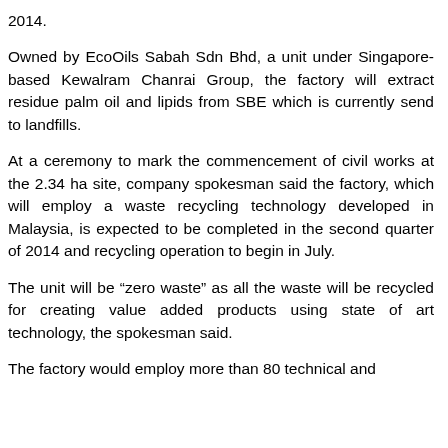2014.
Owned by EcoOils Sabah Sdn Bhd, a unit under Singapore-based Kewalram Chanrai Group, the factory will extract residue palm oil and lipids from SBE which is currently send to landfills.
At a ceremony to mark the commencement of civil works at the 2.34 ha site, company spokesman said the factory, which will employ a waste recycling technology developed in Malaysia, is expected to be completed in the second quarter of 2014 and recycling operation to begin in July.
The unit will be “zero waste” as all the waste will be recycled for creating value added products using state of art technology, the spokesman said.
The factory would employ more than 80 technical and